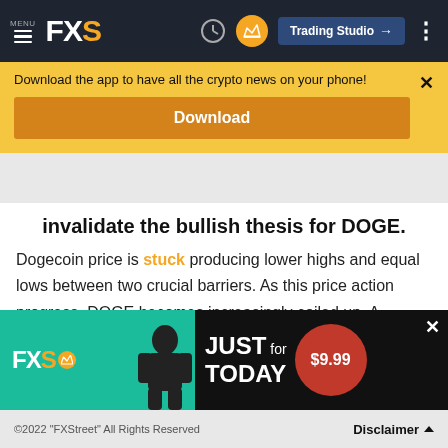MENU FXS  Trading Studio
Download the app to have all the crypto news on your phone!
Download
invalidate the bullish thesis for DOGE.
Dogecoin price is stuck producing lower highs and equal lows between two crucial barriers. As this price action progress, DOGE becomes increasingly coiled up. A breakout from this consolidation is likely to pop, leading to a quick run-up.
[Figure (advertisement): FXS advertisement banner: JUST for TODAY $9.99]
©2022 "FXStreet" All Rights Reserved   Disclaimer